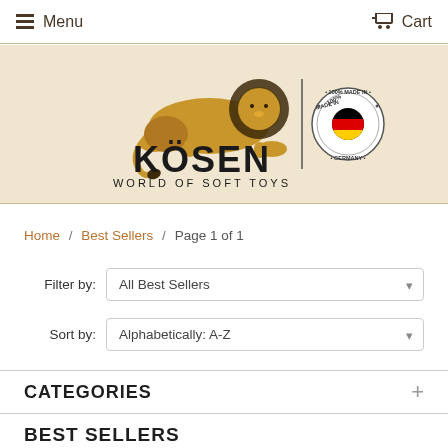Menu   Cart
[Figure (logo): Kösen World of Soft Toys logo with a lion illustration and '100% Made in Germany' circular badge]
Home / Best Sellers / Page 1 of 1
Filter by: All Best Sellers
Sort by: Alphabetically: A-Z
CATEGORIES
BEST SELLERS